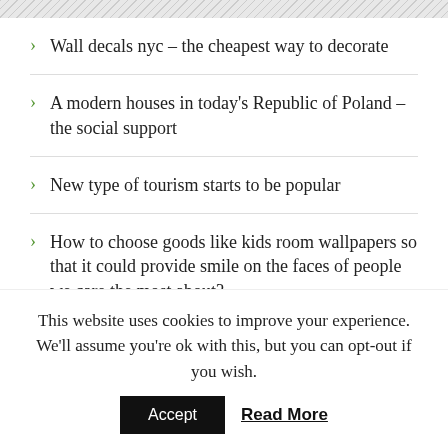Wall decals nyc – the cheapest way to decorate
A modern houses in today's Republic of Poland – the social support
New type of tourism starts to be popular
How to choose goods like kids room wallpapers so that it could provide smile on the faces of people we care the most about?
Great concept for your home? Choose wallpapers
CATEGORIES
This website uses cookies to improve your experience. We'll assume you're ok with this, but you can opt-out if you wish.
Accept   Read More